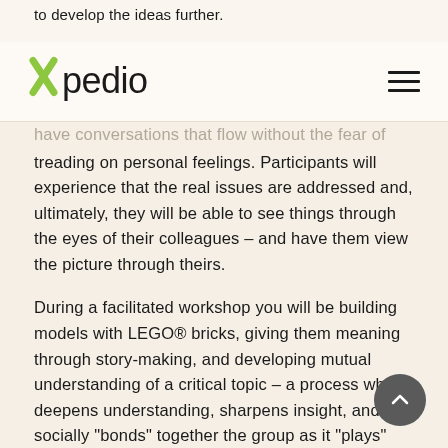to develop the ideas further.
Xpedio
have conversations that flow without the fear of treading on personal feelings. Participants will experience that the real issues are addressed and, ultimately, they will be able to see things through the eyes of their colleagues – and have them view the picture through theirs.
During a facilitated workshop you will be building models with LEGO® bricks, giving them meaning through story-making, and developing mutual understanding of a critical topic – a process which deepens understanding, sharpens insight, and socially “bonds” together the group as it “plays” together.